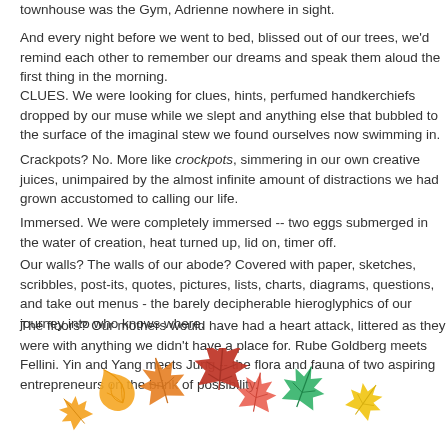townhouse was the Gym, Adrienne nowhere in sight.
And every night before we went to bed, blissed out of our trees, we'd remind each other to remember our dreams and speak them aloud the first thing in the morning.
CLUES. We were looking for clues, hints, perfumed handkerchiefs dropped by our muse while we slept and anything else that bubbled to the surface of the imaginal stew we found ourselves now swimming in.
Crackpots? No. More like crockpots, simmering in our own creative juices, unimpaired by the almost infinite amount of distractions we had grown accustomed to calling our life.
Immersed. We were completely immersed -- two eggs submerged in the water of creation, heat turned up, lid on, timer off.
Our walls? The walls of our abode? Covered with paper, sketches, scribbles, post-its, quotes, pictures, lists, charts, diagrams, questions, and take out menus - the barely decipherable hieroglyphics of our journey into who knows where.
The floors? Our mothers would have had a heart attack, littered as they were with anything we didn't have a place for. Rube Goldberg meets Fellini. Yin and Yang meets Jung -- the flora and fauna of two aspiring entrepreneurs on the brink of possibility.
[Figure (illustration): Autumn maple leaves in orange, red, yellow, and green arranged decoratively at the bottom of the page.]